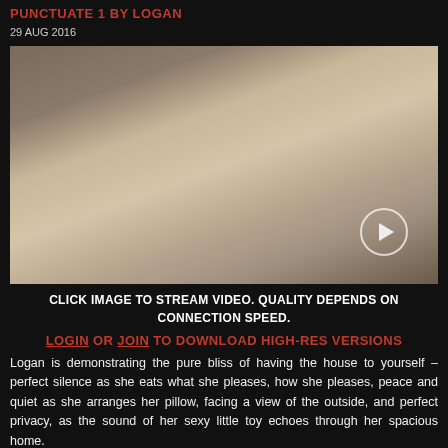PUNCTUATE 1 BY LOGAN
29 AUG 2016
[Figure (photo): A woman in a white top reclines on a dark cushion on a wooden floor, with various objects around her. A play button overlay appears in the lower right corner.]
CLICK IMAGE TO STREAM VIDEO. QUALITY DEPENDS ON CONNECTION SPEED.
LOGIN OR JOIN TO DOWNLOAD HIGH-RES VERSIONS
Logan is demonstrating the pure bliss of having the house to yourself – perfect silence as she eats what she pleases, how she pleases, peace and quiet as she arranges her pillow, facing a view of the outside, and perfect privacy, as the sound of her sexy little toy echoes through her spacious home.